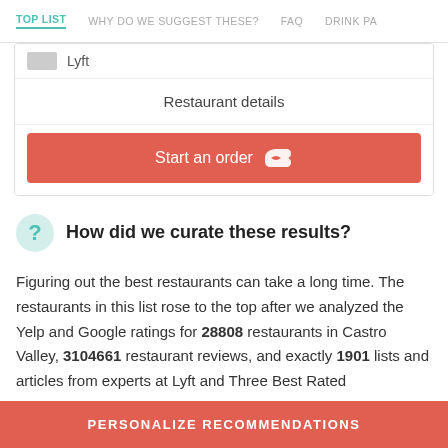TOP LIST | WHY DO WE SUGGEST THESE? | FAQ | DRINK PA
Lyft
Restaurant details
Start an order
How did we curate these results?
Figuring out the best restaurants can take a long time. The restaurants in this list rose to the top after we analyzed the Yelp and Google ratings for 28808 restaurants in Castro Valley, 3104661 restaurant reviews, and exactly 1901 lists and articles from experts at Lyft and Three Best Rated
PERSONALIZE RECOMMENDATIONS